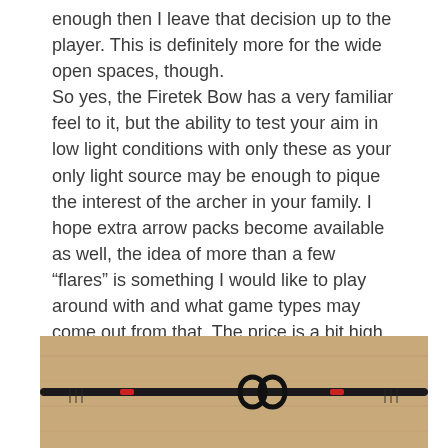enough then I leave that decision up to the player. This is definitely more for the wide open spaces, though.
So yes, the Firetek Bow has a very familiar feel to it, but the ability to test your aim in low light conditions with only these as your only light source may be enough to pique the interest of the archer in your family. I hope extra arrow packs become available as well, the idea of more than a few “flares” is something I would like to play around with and what game types may come out from that. The price is a bit high, but considering the electronics and the solid construction that isn’t entirely unexpected.
[Figure (photo): Photo of what appears to be two black bow/arrow accessories with loops, laid on a wooden floor surface.]